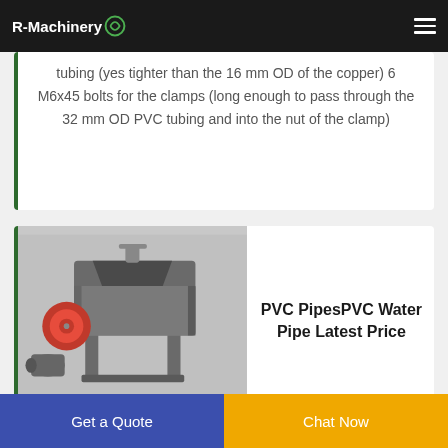R-Machinery
tubing (yes tighter than the 16 mm OD of the copper) 6 M6x45 bolts for the clamps (long enough to pass through the 32 mm OD PVC tubing and into the nut of the clamp)
[Figure (photo): Industrial plastic shredder/granulator machine with red flywheel and motor, rendered in 3D CAD style on grey background]
PVC PipesPVC Water Pipe Latest Price
Get a Quote
Chat Now